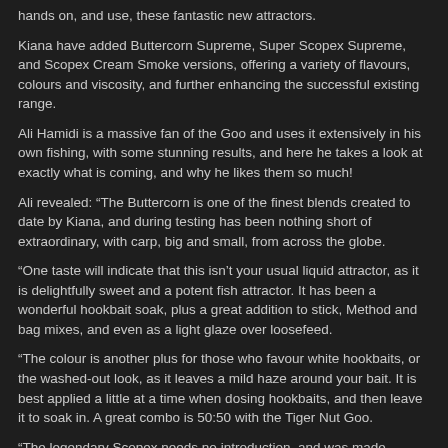hands on, and use, these fantastic new attractors.
Kiana have added Buttercorn Supreme, Super Scopex Supreme, and Scopex Cream Smoke versions, offering a variety of flavours, colours and viscosity, and further enhancing the successful existing range.
Ali Hamidi is a massive fan of the Goo and uses it extensively in his own fishing, with some stunning results, and here he takes a look at exactly what is coming, and why he likes them so much!
Ali revealed: “The Buttercorn is one of the finest blends created to date by Kiana, and during testing has been nothing short of extraordinary, with carp, big and small, from across the globe.
“One taste will indicate that this isn’t your usual liquid attractor, as it is delightfully sweet and a potent fish attractor. It has been a wonderful hookbait soak, plus a great addition to stick, Method and bag mixes, and even as a light glaze over loosefeed.
“The colour is another plus for those who favour white hookbaits, or the washed-out look, as it leaves a mild haze around your bait. It is best applied a little at a time when dosing hookbaits, and then leave it to soak in. A great combo is 50:50 with the Tiger Nut Goo.
“The legendary Scopex needs no introduction, and was made famous decades ago by the legendary Rod Hutchinson, and now Kiana have created two new Goos with a twist on the great attractor, that has enhanced it even more.